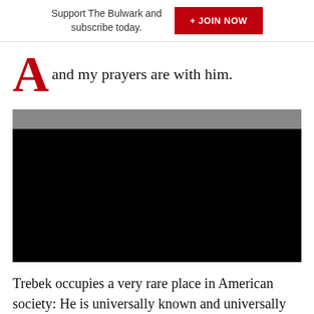Support The Bulwark and subscribe today. + JOIN NOW
and my prayers are with him.
[Figure (screenshot): Embedded video player with gray top bar and black content area, appearing as a video embed on the webpage.]
Trebek occupies a very rare place in American society: He is universally known and universally